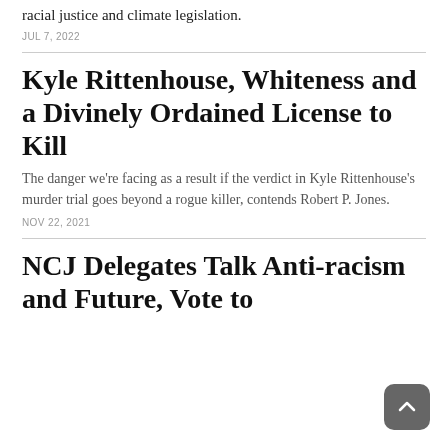racial justice and climate legislation.
JUL 7, 2022
Kyle Rittenhouse, Whiteness and a Divinely Ordained License to Kill
The danger we're facing as a result if the verdict in Kyle Rittenhouse's murder trial goes beyond a rogue killer, contends Robert P. Jones.
NOV 22, 2021
NCJ Delegates Talk Anti-racism and Future, Vote to